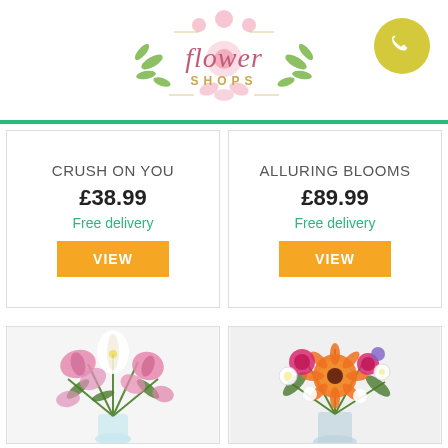[Figure (logo): Flower Shops logo with floral decoration and phone button]
CRUSH ON YOU
£38.99
Free delivery
VIEW
ALLURING BLOOMS
£89.99
Free delivery
VIEW
[Figure (photo): Pink and white lily bouquet in a glass vase]
[Figure (photo): Mixed flower bouquet with orange gerbera, pink roses and white flowers in a glass vase]